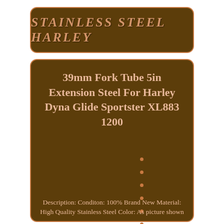Stainless Steel Harley
39mm Fork Tube 5in Extension Steel For Harley Dyna Glide Sportster XL883 1200
Description: Conditon: 100% Brand New Material: High Quality Stainless Steel Color: As picture shown